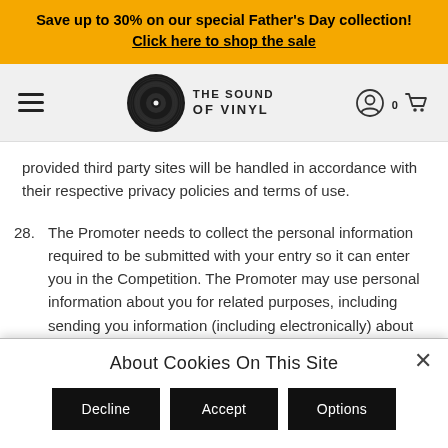Save up to 30% on our special Father's Day collection! Click here to shop the sale
[Figure (logo): The Sound of Vinyl logo with hamburger menu, vinyl record icon, account icon, and cart icon showing 0 items]
provided third party sites will be handled in accordance with their respective privacy policies and terms of use.
28. The Promoter needs to collect the personal information required to be submitted with your entry so it can enter you in the Competition. The Promoter may use personal information about you for related purposes, including sending you information (including electronically) about Universal products, events, artists, news and further competitions.  The
About Cookies On This Site
Decline | Accept | Options